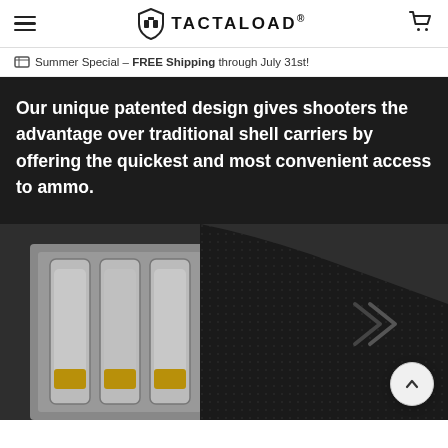TACTALOAD®
🎟 Summer Special – FREE Shipping through July 31st!
Our unique patented design gives shooters the advantage over traditional shell carriers by offering the quickest and most convenient access to ammo.
[Figure (photo): Close-up photograph of a shotgun stock with an integrated shell carrier/holder showing silver shotgun shells with brass tips loaded in the carrier, alongside the black textured grip of the shotgun. A circular scroll-to-top button with an upward arrow is overlaid in the bottom right corner.]